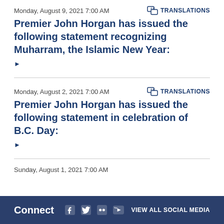Monday, August 9, 2021 7:00 AM
TRANSLATIONS
Premier John Horgan has issued the following statement recognizing Muharram, the Islamic New Year:
▶
Monday, August 2, 2021 7:00 AM
TRANSLATIONS
Premier John Horgan has issued the following statement in celebration of B.C. Day:
▶
Sunday, August 1, 2021 7:00 AM
Connect  VIEW ALL SOCIAL MEDIA